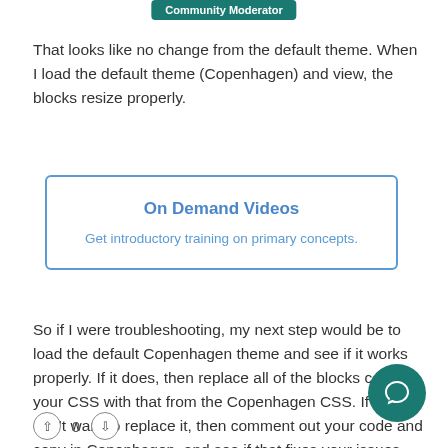Community Moderator
That looks like no change from the default theme. When I load the default theme (Copenhagen) and view, the blocks resize properly.
[Figure (other): Promotional box with blue border titled 'On Demand Videos' and subtitle 'Get introductory training on primary concepts.']
So if I were troubleshooting, my next step would be to load the default Copenhagen theme and see if it works properly. If it does, then replace all of the blocks code in your CSS with that from the Copenhagen CSS. If you don't want to replace it, then comment out your code and copy in Copenhagen, and see if that fixes your issues
0